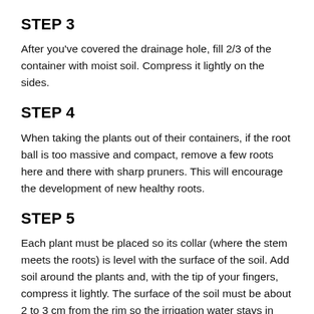STEP 3
After you've covered the drainage hole, fill 2/3 of the container with moist soil. Compress it lightly on the sides.
STEP 4
When taking the plants out of their containers, if the root ball is too massive and compact, remove a few roots here and there with sharp pruners. This will encourage the development of new healthy roots.
STEP 5
Each plant must be placed so its collar (where the stem meets the roots) is level with the surface of the soil. Add soil around the plants and, with the tip of your fingers, compress it lightly. The surface of the soil must be about 2 to 3 cm from the rim so the irrigation water stays in